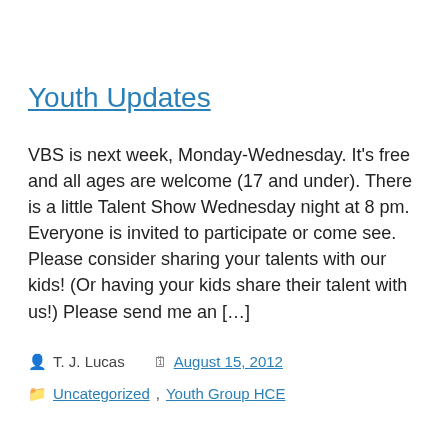Youth Updates
VBS is next week, Monday-Wednesday. It's free and all ages are welcome (17 and under). There is a little Talent Show Wednesday night at 8 pm. Everyone is invited to participate or come see. Please consider sharing your talents with our kids! (Or having your kids share their talent with us!) Please send me an […]
T. J. Lucas   August 15, 2012
Uncategorized, Youth Group HCE